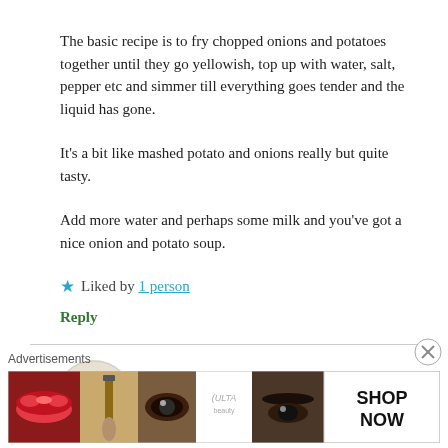The basic recipe is to fry chopped onions and potatoes together until they go yellowish, top up with water, salt, pepper etc and simmer till everything goes tender and the liquid has gone.
It’s a bit like mashed potato and onions really but quite tasty.
Add more water and perhaps some milk and you’ve got a nice onion and potato soup.
★ Liked by 1 person
Reply
[Figure (illustration): Avatar icon with orange/gold mosaic pattern]
[Figure (photo): Advertisement banner showing Ulta Beauty cosmetics ad with lips, brush, eye, Ulta logo, eyebrows, and SHOP NOW text]
Advertisements